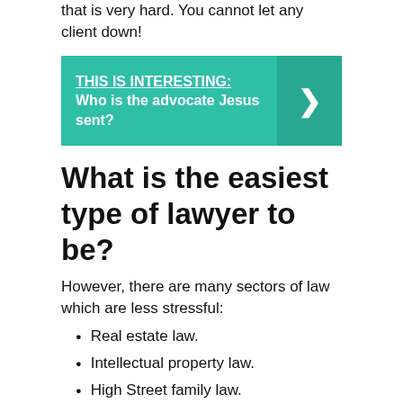that is very hard. You cannot let any client down!
[Figure (infographic): Teal banner with text: THIS IS INTERESTING: Who is the advocate Jesus sent? with a right-arrow chevron on the right side.]
What is the easiest type of lawyer to be?
However, there are many sectors of law which are less stressful:
Real estate law.
Intellectual property law.
High Street family law.
Government lawyers.
Working In-House.